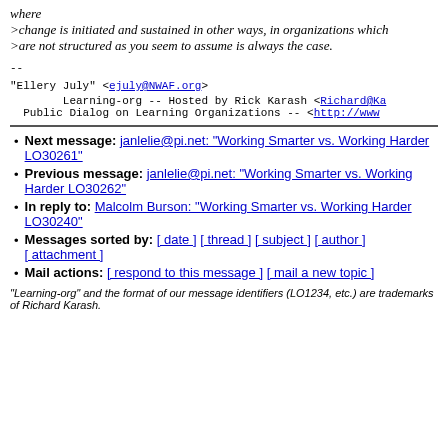where
>change is initiated and sustained in other ways, in organizations which
>are not structured as you seem to assume is always the case.
--
"Ellery July" <ejuly@NWAF.org>
Learning-org -- Hosted by Rick Karash <Richard@Ka...
Public Dialog on Learning Organizations -- <http://www...
Next message: janlelie@pi.net: "Working Smarter vs. Working Harder LO30261"
Previous message: janlelie@pi.net: "Working Smarter vs. Working Harder LO30262"
In reply to: Malcolm Burson: "Working Smarter vs. Working Harder LO30240"
Messages sorted by: [ date ] [ thread ] [ subject ] [ author ] [ attachment ]
Mail actions: [ respond to this message ] [ mail a new topic ]
"Learning-org" and the format of our message identifiers (LO1234, etc.) are trademarks of Richard Karash.